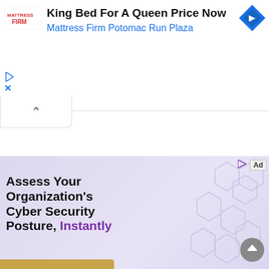[Figure (infographic): Mattress Firm advertisement banner with logo, headline 'King Bed For A Queen Price Now', subheading 'Mattress Firm Potomac Run Plaza', blue navigation diamond icon, play and close controls]
[Figure (infographic): Cybersecurity advertisement with lavender/purple background, hexagon pattern, text 'Assess Your Organization's Cyber Security Posture, Instantly' with 'Instantly' in purple, yellow button at bottom, Ad label, scroll-to-top button]